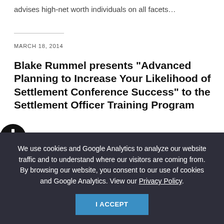advises high-net worth individuals on all facets…
MARCH 18, 2014
Blake Rummel presents “Advanced Planning to Increase Your Likelihood of Settlement Conference Success” to the Settlement Officer Training Program
Blake Rummel presents “Advanced Planning to Increase Your Likelihood of Settlement Conference Success” to the Settlement Officer Training Program
We use cookies and Google Analytics to analyze our website traffic and to understand where our visitors are coming from. By browsing our website, you consent to our use of cookies and Google Analytics. View our Privacy Policy.
I ACCEPT